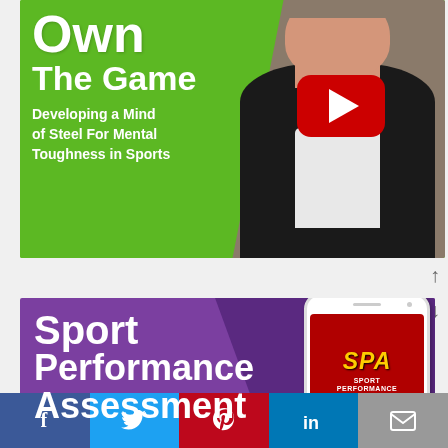[Figure (screenshot): Video thumbnail with green background on left showing text 'Own The Game - Developing a Mind of Steel For Mental Toughness in Sports', YouTube play button overlay, and a man in dark suit on the right side.]
[Figure (screenshot): Purple promotional banner for 'Sport Performance Assessment' app with a smartphone mockup showing the SPA app logo on the right side.]
[Figure (infographic): Social sharing bar at the bottom with Facebook (blue), Twitter (light blue), Pinterest (red), LinkedIn (dark blue), and Email (gray) buttons with their respective icons.]